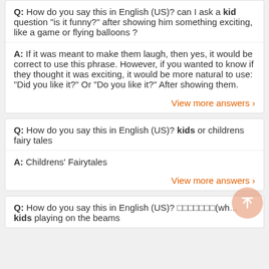Q: How do you say this in English (US)? can I ask a kid question "is it funny?" after showing him something exciting, like a game or flying balloons ?
A: If it was meant to make them laugh, then yes, it would be correct to use this phrase. However, if you wanted to know if they thought it was exciting, it would be more natural to use: "Did you like it?" Or "Do you like it?" After showing them.
View more answers >
Q: How do you say this in English (US)? kids or childrens fairy tales
A: Childrens' Fairytales
View more answers >
Q: How do you say this in English (US)? ??????(wh... kids playing on the beams